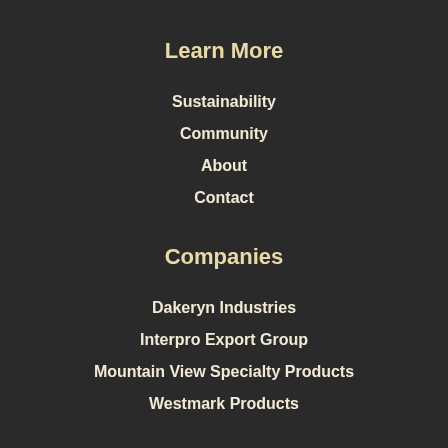Learn More
Sustainability
Community
About
Contact
Companies
Dakeryn Industries
Interpro Export Group
Mountain View Specialty Products
Westmark Products